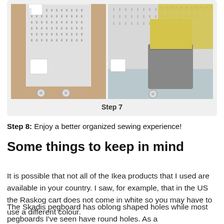[Figure (photo): Two side-by-side photos of an IKEA Skadis pegboard mounted on a Raskog cart with accessories and containers. Left photo shows white pegboard cart with small white bins. Right photo shows close-up of cart with a gray square bucket and yellow crocheted fabric.]
Step 7
Step 8: Enjoy a better organized sewing experience!
Some things to keep in mind
It is possible that not all of the Ikea products that I used are available in your country. I saw, for example, that in the US the Raskog cart does not come in white so you may have to use a different colour.
The Skadis pegboard has oblong shaped holes while most pegboards I've seen have round holes. As a